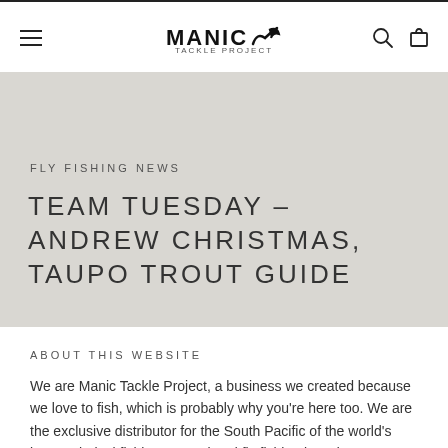MANIC TACKLE PROJECT — navigation header with hamburger menu, logo, search and cart icons
FLY FISHING NEWS
TEAM TUESDAY – ANDREW CHRISTMAS, TAUPO TROUT GUIDE
ABOUT THIS WEBSITE
We are Manic Tackle Project, a business we created because we love to fish, which is probably why you're here too. We are the exclusive distributor for the South Pacific of the world's best technical fishing apparel and fly fishing brands